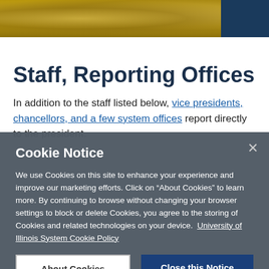[Figure (photo): University seal or decorative header image with gold/bronze tones and a dark blue bar on the right side]
Staff, Reporting Offices
In addition to the staff listed below, vice presidents, chancellors, and a few system offices report directly to the president.
Cookie Notice
We use Cookies on this site to enhance your experience and improve our marketing efforts. Click on “About Cookies” to learn more. By continuing to browse without changing your browser settings to block or delete Cookies, you agree to the storing of Cookies and related technologies on your device.  University of Illinois System Cookie Policy